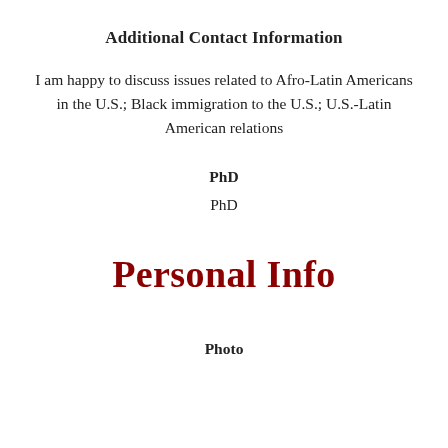Additional Contact Information
I am happy to discuss issues related to Afro-Latin Americans in the U.S.; Black immigration to the U.S.; U.S.-Latin American relations
PhD
PhD
Personal Info
Photo